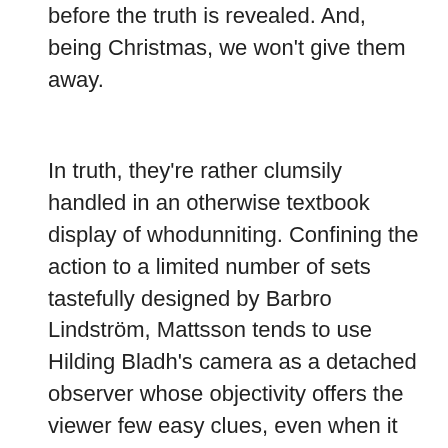before the truth is revealed. And, being Christmas, we won't give them away.
In truth, they're rather clumsily handled in an otherwise textbook display of whodunniting. Confining the action to a limited number of sets tastefully designed by Barbro Lindström, Mattsson tends to use Hilding Bladh's camera as a detached observer whose objectivity offers the viewer few easy clues, even when it glides across rooms or lingers to catch mirror reflections. By avoiding dramatic leaps, Lennart Wallén's editing proves equally noncommittal and leaves the viewer to reach their own conclusions on the basis of the